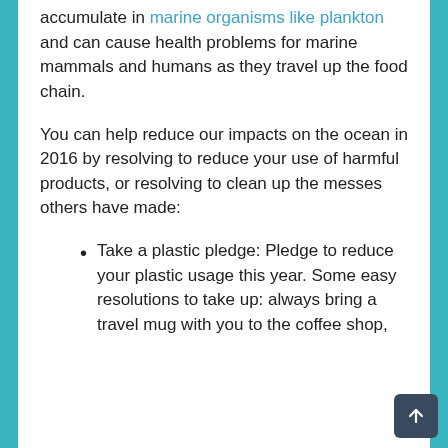accumulate in marine organisms like plankton and can cause health problems for marine mammals and humans as they travel up the food chain.
You can help reduce our impacts on the ocean in 2016 by resolving to reduce your use of harmful products, or resolving to clean up the messes others have made:
Take a plastic pledge: Pledge to reduce your plastic usage this year. Some easy resolutions to take up: always bring a travel mug with you to the coffee shop,